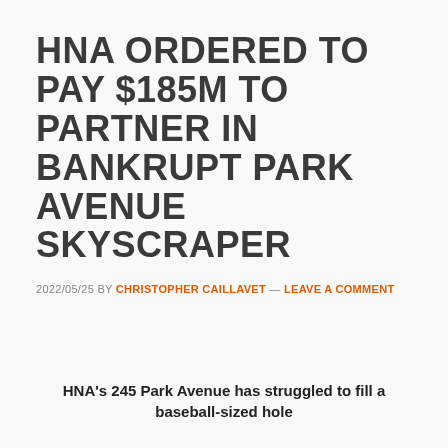HNA ORDERED TO PAY $185M TO PARTNER IN BANKRUPT PARK AVENUE SKYSCRAPER
2022/05/25 BY CHRISTOPHER CAILLAVET — LEAVE A COMMENT
HNA's 245 Park Avenue has struggled to fill a baseball-sized hole